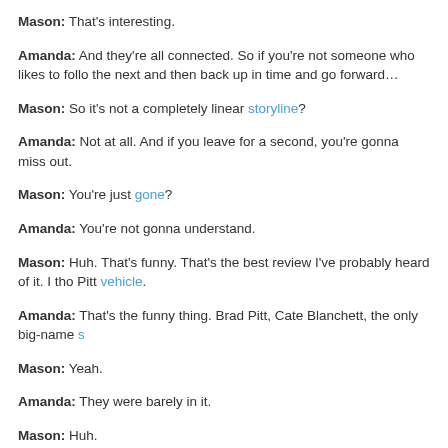Mason: That's interesting.
Amanda: And they're all connected. So if you're not someone who likes to follow the next and then back up in time and go forward…
Mason: So it's not a completely linear storyline?
Amanda: Not at all. And if you leave for a second, you're gonna miss out.
Mason: You're just gone?
Amanda: You're not gonna understand.
Mason: Huh. That's funny. That's the best review I've probably heard of it. I tho Pitt vehicle.
Amanda: That's the funny thing. Brad Pitt, Cate Blanchett, the only big-name s
Mason: Yeah.
Amanda: They were barely in it.
Mason: Huh.
Amanda: That was the interesting part to me. But they had to use them to publ
Mason: I'll go rent it.
Quizzes